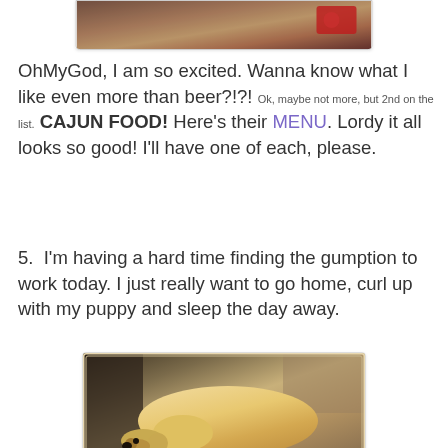[Figure (photo): Partial photo of food or drink item at the top of the page, cut off at the bottom of card]
OhMyGod, I am so excited. Wanna know what I like even more than beer?!?! Ok, maybe not more, but 2nd on the list. CAJUN FOOD! Here's their MENU. Lordy it all looks so good! I'll have one of each, please.
5.  I'm having a hard time finding the gumption to work today. I just really want to go home, curl up with my puppy and sleep the day away.
[Figure (photo): Photo of a yellow Labrador retriever dog curled up sleeping on a couch or dog bed, viewed from above]